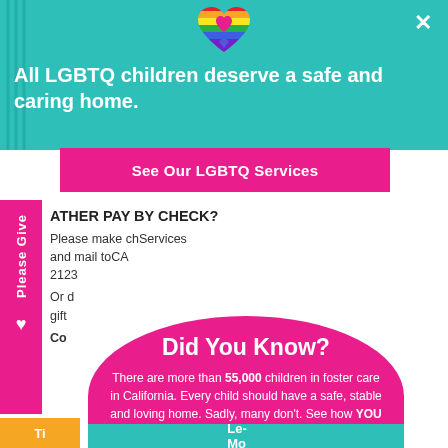[Figure (screenshot): Website screenshot showing LGBTQ foster care services page with overlapping popups]
All LGBTQ children deserve a safe and caring home.
See Our LGBTQ Services
ATHER PAY BY CHECK?
Please make ch... Services and mail to... CA 2123
Or d... gift...
Co...
Did You Know?
There are more than 55,000 children in foster care in California. Every child should have a safe, stable and loving home. Sadly, many don't. See how YOU can make a difference.
Please Give
Ti...